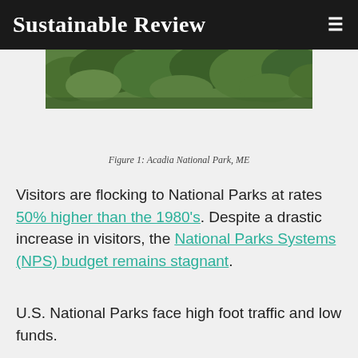Sustainable Review
[Figure (photo): Partial view of lush green forest/trees, appearing to be a cropped photograph of Acadia National Park, ME]
Figure 1: Acadia National Park, ME
Visitors are flocking to National Parks at rates 50% higher than the 1980's. Despite a drastic increase in visitors, the National Parks Systems (NPS) budget remains stagnant.
U.S. National Parks face high foot traffic and low funds.